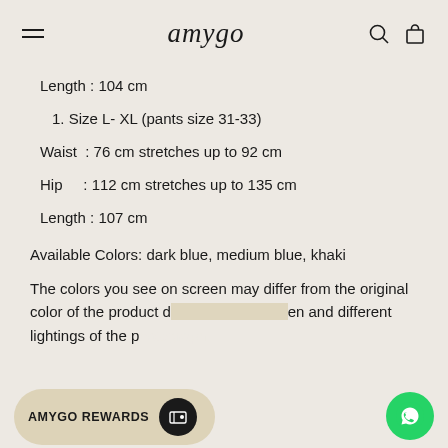amygo
Length : 104 cm
1. Size L- XL (pants size 31-33)
Waist  : 76 cm stretches up to 92 cm
Hip    : 112 cm stretches up to 135 cm
Length : 107 cm
Available Colors: dark blue, medium blue, khaki
The colors you see on screen may differ from the original color of the product d... en and different lightings of the p...